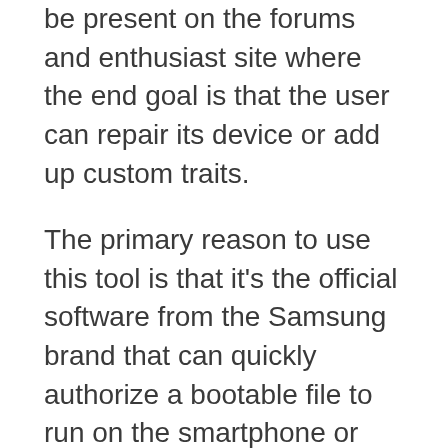be present on the forums and enthusiast site where the end goal is that the user can repair its device or add up custom traits.
The primary reason to use this tool is that it's the official software from the Samsung brand that can quickly authorize a bootable file to run on the smartphone or tablets.
The software is precisely created for the Samsung device users in which they will get features from unlocking bootloader, flashing and patching files to obtain root access.
The Odin tool is utilized for the general